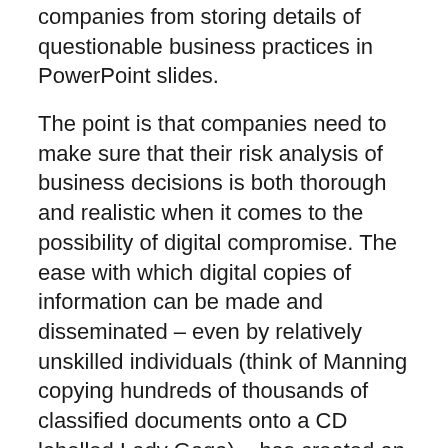companies from storing details of questionable business practices in PowerPoint slides.
The point is that companies need to make sure that their risk analysis of business decisions is both thorough and realistic when it comes to the possibility of digital compromise. The ease with which digital copies of information can be made and disseminated – even by relatively unskilled individuals (think of Manning copying hundreds of thousands of classified documents onto a CD labelled Lady Gaga) – has created an entirely different reality from the analogue world we worked in just a few decades ago. The wealth of options that an insider has to choose from if he or she decides to share digital secrets with the outside world is long and continues to grow.
Assumption 2: External attackers are the biggest threat